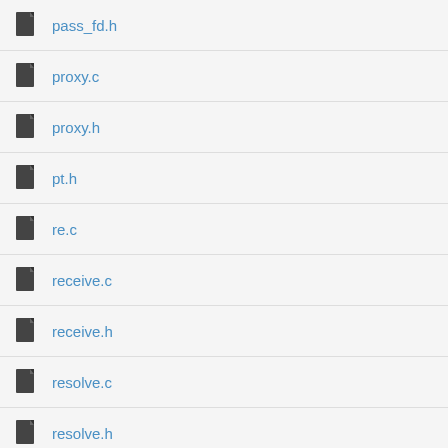pass_fd.h
proxy.c
proxy.h
pt.h
re.c
receive.c
receive.h
resolve.c
resolve.h
route.c
route.h
route_struct.c
route_struct.h